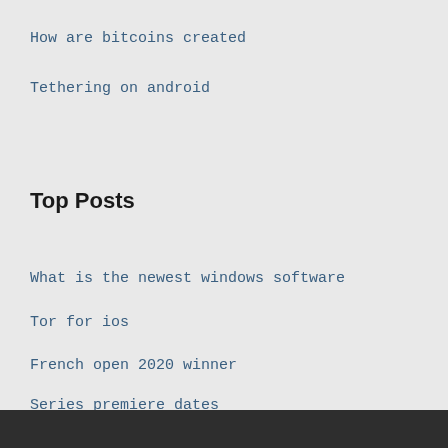How are bitcoins created
Tethering on android
Top Posts
What is the newest windows software
Tor for ios
French open 2020 winner
Series premiere dates
What is otr mean